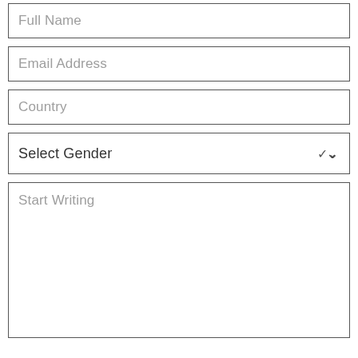Full Name
Email Address
Country
Select Gender
Start Writing